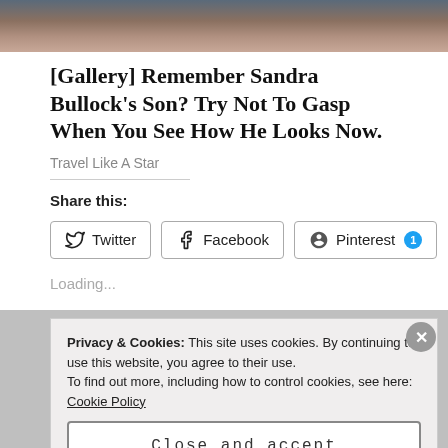[Figure (photo): Photo strip showing two people, partially cropped at the top of the page]
[Gallery] Remember Sandra Bullock's Son? Try Not To Gasp When You See How He Looks Now.
Travel Like A Star
Share this:
Twitter
Facebook
Pinterest 1
Loading...
Privacy & Cookies: This site uses cookies. By continuing to use this website, you agree to their use.
To find out more, including how to control cookies, see here: Cookie Policy
Close and accept